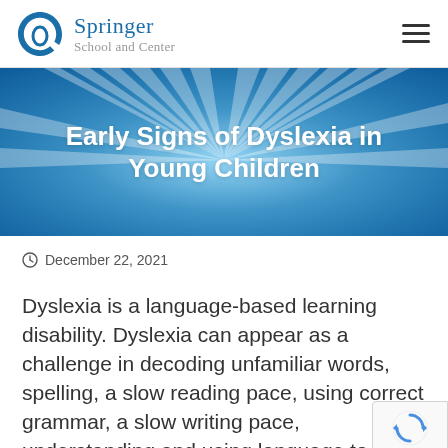[Figure (logo): Springer School and Center logo with circular swirl graphic and text]
Early Signs of Dyslexia in Young Children
December 22, 2021
Dyslexia is a language-based learning disability. Dyslexia can appear as a challenge in decoding unfamiliar words, spelling, a slow reading pace, using correct grammar, a slow writing pace, understanding and using language to